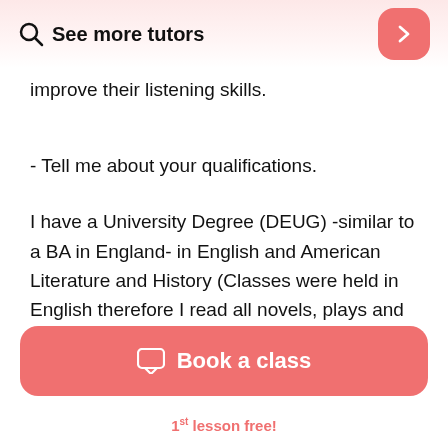See more tutors
improve their listening skills.
- Tell me about your qualifications.
I have a University Degree (DEUG) -similar to a BA in England- in English and American Literature and History (Classes were held in English therefore I read all novels, plays and other reference books in
Book a class
1st lesson free!